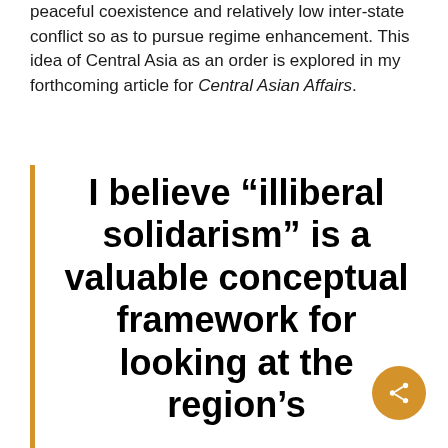peaceful coexistence and relatively low inter-state conflict so as to pursue regime enhancement. This idea of Central Asia as an order is explored in my forthcoming article for Central Asian Affairs.
I believe “illiberal solidarism” is a valuable conceptual framework for looking at the region’s